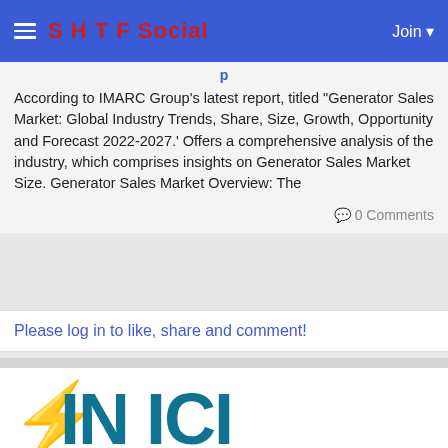S H T F Social  Join
According to IMARC Group’s latest report, titled “Generator Sales Market: Global Industry Trends, Share, Size, Growth, Opportunity and Forecast 2022-2027.’ Offers a comprehensive analysis of the industry, which comprises insights on Generator Sales Market Size. Generator Sales Market Overview: The
0 Comments
Please log in to like, share and comment!
santosh006 ✓ ⚡ added new article 29 minutes ago - Translate
[Figure (logo): Partial large logo/text visible at bottom of page, dark and teal colored letters]